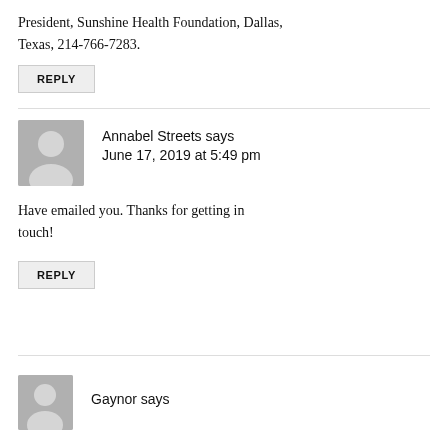President, Sunshine Health Foundation, Dallas, Texas, 214-766-7283.
REPLY
Annabel Streets says
June 17, 2019 at 5:49 pm
Have emailed you. Thanks for getting in touch!
REPLY
Gaynor says